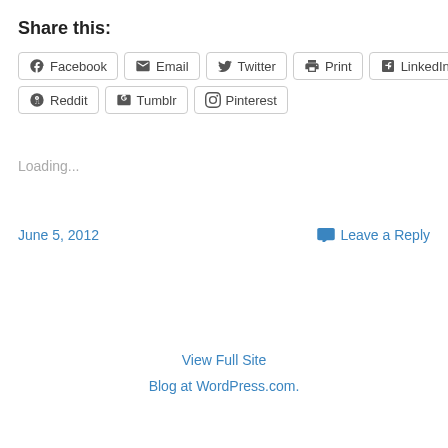Share this:
Facebook | Email | Twitter | Print | LinkedIn | Reddit | Tumblr | Pinterest
Loading...
June 5, 2012
Leave a Reply
View Full Site
Blog at WordPress.com.